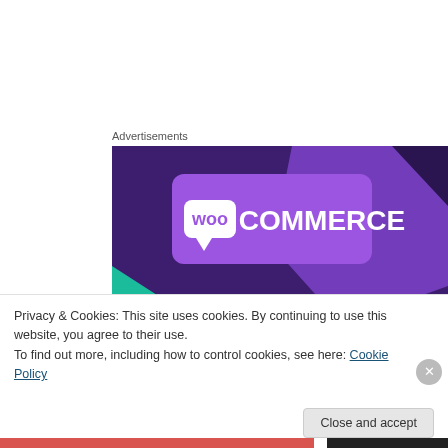Advertisements
[Figure (logo): WooCommerce advertisement banner with purple gradient background and white WooCommerce logo text with speech-bubble 'Woo' icon]
Table 1. Common mnemonics used in pharmacy OTC consultations¹²
| WWHAM | ASMETHOD |
| --- | --- |
| Who is it for? | Age/appearance |
| What are the symptoms? | Self or someone else |
Privacy & Cookies: This site uses cookies. By continuing to use this website, you agree to their use.
To find out more, including how to control cookies, see here: Cookie Policy
Close and accept